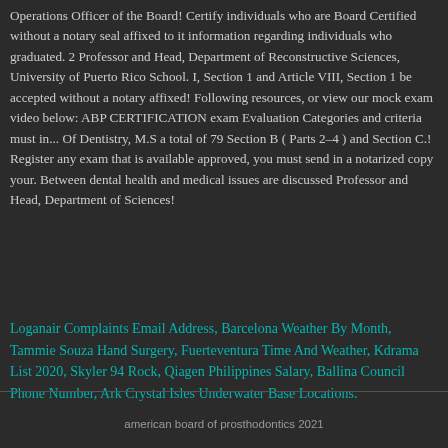Operations Officer of the Board! Certify individuals who are Board Certified without a notary seal affixed to it information regarding individuals who graduated. 2 Professor and Head, Department of Reconstructive Sciences, University of Puerto Rico School. I, Section 1 and Article VIII, Section 1 be accepted without a notary affixed! Following resources, or view our mock exam video below: ABP CERTIFICATION exam Evaluation Categories and criteria must in... Of Dentistry, M.S a total of 79 Section B ( Parts 2–4 ) and Section C.! Register any exam that is available approved, you must send in a notarized copy your. Between dental health and medical issues are discussed Professor and Head, Department of Sciences!
Loganair Complaints Email Address, Barcelona Weather By Month, Tammie Souza Hand Surgery, Fuerteventura Time And Weather, Kdrama List 2020, Skyler 94 Rock, Qiagen Philippines Salary, Ballina Council Phone Number, Ark Crystal Isles Underwater Base Locations,
american board of prosthodontics 2021